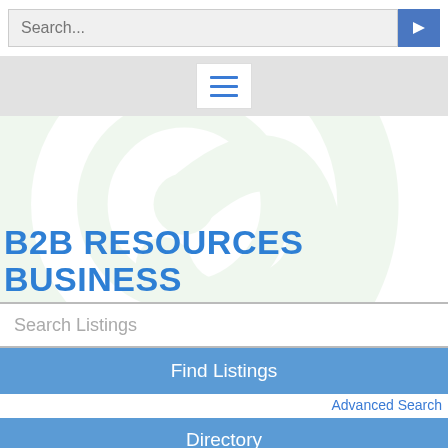[Figure (screenshot): Search bar with placeholder text 'Search...' and a blue arrow/submit button on the right]
[Figure (logo): Faint watermark logo of a circular @ symbol in light green/grey tones in the background]
[Figure (other): Grey navigation bar with a white hamburger menu button showing three blue horizontal lines]
B2B RESOURCES BUSINESS
Search Listings
Find Listings
Advanced Search
Directory
View All Listings